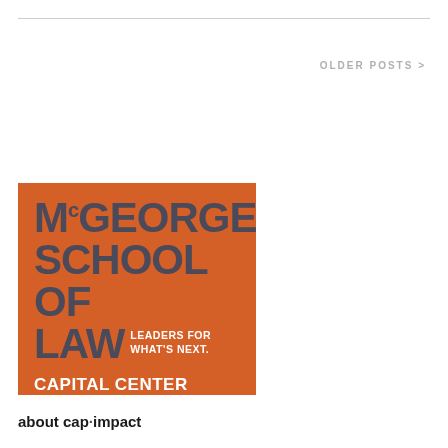OLDER POSTS >
[Figure (logo): McGeorge School of Law — Leaders for What's Next. Capital Center for Law & Policy logo on orange background.]
about cap·impact